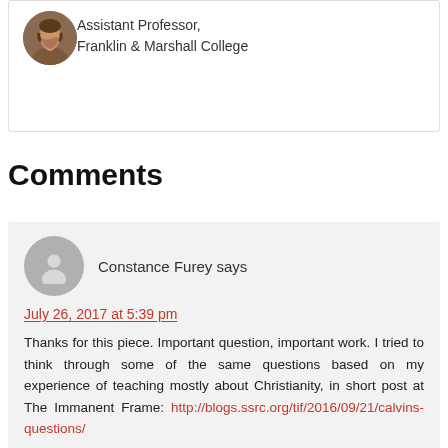[Figure (photo): Circular profile photo of a bearded man, Assistant Professor at Franklin & Marshall College]
Assistant Professor,
Franklin & Marshall College
Comments
[Figure (photo): Generic grey avatar placeholder for commenter Constance Furey]
Constance Furey says
July 26, 2017 at 5:39 pm
Thanks for this piece. Important question, important work. I tried to think through some of the same questions based on my experience of teaching mostly about Christianity, in short post at The Immanent Frame: http://blogs.ssrc.org/tif/2016/09/21/calvins-questions/
Reply